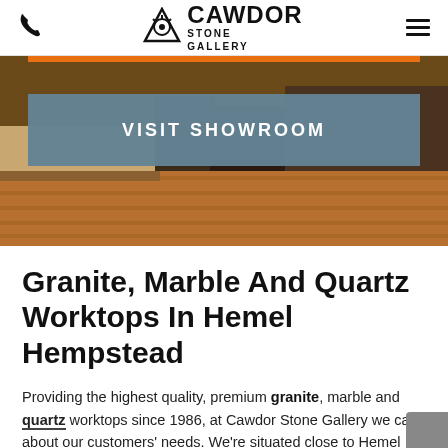Cawdor Stone Gallery — phone icon, logo, hamburger menu
[Figure (photo): Showroom interior with granite/marble worktops and wooden flooring, with a steel-blue 'VISIT SHOWROOM' banner overlay and orange accent bar at top]
Granite, Marble And Quartz Worktops In Hemel Hempstead
Providing the highest quality, premium granite, marble and quartz worktops since 1986, at Cawdor Stone Gallery we care about our customers' needs. We're situated close to Hemel Hempstead for your convenience when it comes to delivery and installation.